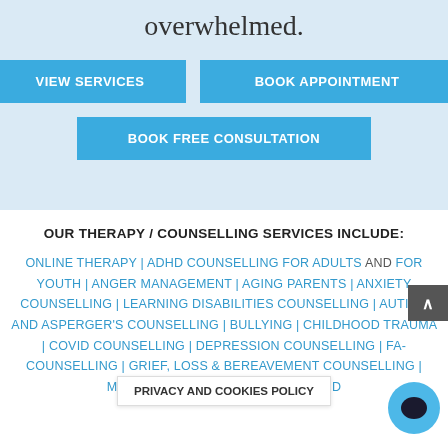overwhelmed.
VIEW SERVICES
BOOK APPOINTMENT
BOOK FREE CONSULTATION
OUR THERAPY / COUNSELLING SERVICES INCLUDE:
ONLINE THERAPY | ADHD COUNSELLING FOR ADULTS AND FOR YOUTH | ANGER MANAGEMENT | AGING PARENTS | ANXIETY COUNSELLING | LEARNING DISABILITIES COUNSELLING | AUTISM AND ASPERGER'S COUNSELLING | BULLYING | CHILDHOOD TRAUMA | COVID COUNSELLING | DEPRESSION COUNSELLING | FA- COUNSELLING | GRIEF, LOSS & BEREAVEMENT COUNSELLING | ... MARRIAGE COUNSELLING | ... NEW AND ...
PRIVACY AND COOKIES POLICY